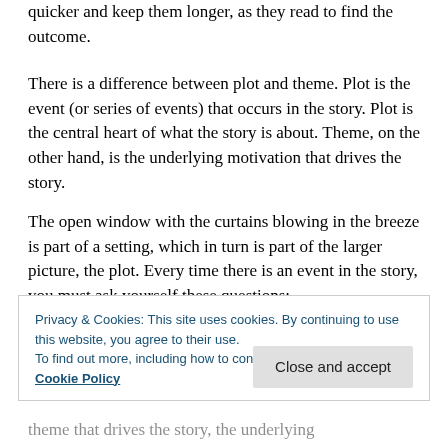quicker and keep them longer, as they read to find the outcome.
There is a difference between plot and theme. Plot is the event (or series of events) that occurs in the story. Plot is the central heart of what the story is about. Theme, on the other hand, is the underlying motivation that drives the story.
The open window with the curtains blowing in the breeze is part of a setting, which in turn is part of the larger picture, the plot. Every time there is an event in the story, you must ask yourself these questions:
Privacy & Cookies: This site uses cookies. By continuing to use this website, you agree to their use.
To find out more, including how to control cookies, see here:
Cookie Policy
theme that drives the story, the underlying